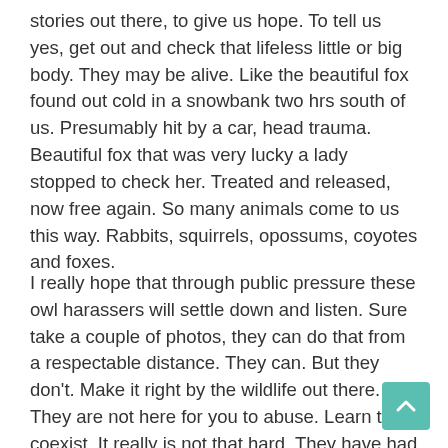stories out there, to give us hope. To tell us yes, get out and check that lifeless little or big body. They may be alive. Like the beautiful fox found out cold in a snowbank two hrs south of us. Presumably hit by a car, head trauma. Beautiful fox that was very lucky a lady stopped to check her. Treated and released, now free again. So many animals come to us this way. Rabbits, squirrels, opossums, coyotes and foxes.
I really hope that through public pressure these owl harassers will settle down and listen. Sure take a couple of photos, they can do that from a respectable distance. They can. But they don't. Make it right by the wildlife out there. They are not here for you to abuse. Learn to coexist. It really is not that hard. They have had to do that as well. Watching wildlife is one of the best therapies out there. For all of us. And the best way to learn about them as well. They are incredible teachers. Amazing parents and protectors of their families. There is nothing so special than